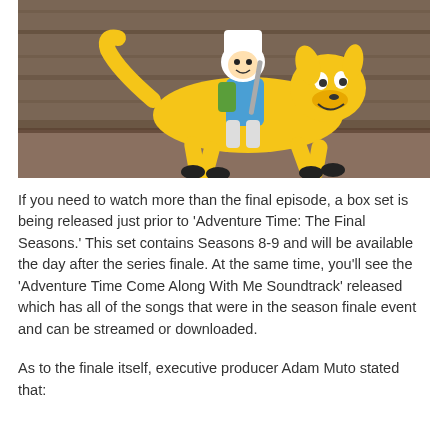[Figure (illustration): Animation still from Adventure Time showing Finn (boy in white hat with a green backpack and blue shirt) riding on Jake (a large yellow dog) who is galloping across a rocky brown landscape.]
If you need to watch more than the final episode, a box set is being released just prior to 'Adventure Time: The Final Seasons.' This set contains Seasons 8-9 and will be available the day after the series finale. At the same time, you'll see the 'Adventure Time Come Along With Me Soundtrack' released which has all of the songs that were in the season finale event and can be streamed or downloaded.
As to the finale itself, executive producer Adam Muto stated that: